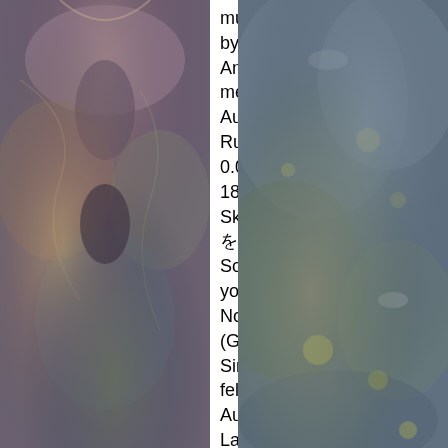[Figure (photo): Left side decorative photo showing stones/rocks with purple, brown, and blue-grey tones, mirrored symmetrically]
musicians that was helmed by key members behind Anohana, a solid, rather melodramatic, tearjerker. Author: Language: Russian FrameRate: 0.000, uploaded: 2016-03-18 01:32:47 .. Her Blue Sky (Japanese: 空の青さを知る人よ , Hepburn: Sora no Aosa o Shiru Hito yo, lit. Dezember 2020. Noblesse – Episode 01 (Ger Sub) Mittwoch, 23. Since then, Aoi has been felt in debt with her ... Author: tyz1318535956 Language: Japanese FrameRate: 23.976, [DB]Sora no Aosa wo Shiru Hito yo_-_(10bit_BD1080p_x265)_track4_eng.ass Subtitle uploaded: 2020-06-29 12:22:01 .. For more precise subtitle search please enter additional info in search field (language, frame rate, movie year, tv show episode number). A fantastic journey to the future begins. Save my name, email, and website in this
[Figure (photo): Right side decorative photo showing stones/rocks with blue-grey, brown, and yellow-green lichen tones]